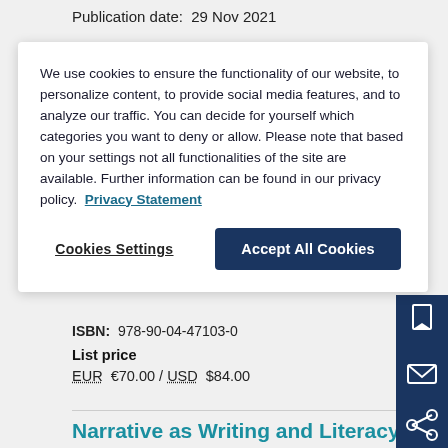Publication date:  29 Nov 2021
We use cookies to ensure the functionality of our website, to personalize content, to provide social media features, and to analyze our traffic. You can decide for yourself which categories you want to deny or allow. Please note that based on your settings not all functionalities of the site are available. Further information can be found in our privacy policy.  Privacy Statement
Cookies Settings
Accept All Cookies
ISBN:  978-90-04-47103-0
List price
EUR  €70.00 / USD  $84.00
Narrative as Writing and Literacy Pedagogy for Preservice Elementary Teachers